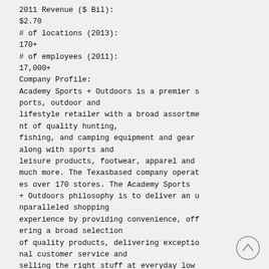2011 Revenue ($ Bil):
$2.70
# of locations (2013):
170+
# of employees (2011):
17,000+
Company Profile:
Academy Sports + Outdoors is a premier sports, outdoor and lifestyle retailer with a broad assortment of quality hunting, fishing, and camping equipment and gear along with sports and leisure products, footwear, apparel and much more. The Texasbased company operates over 170 stores. The Academy Sports + Outdoors philosophy is to deliver an unparalleled shopping experience by providing convenience, offering a broad selection of quality products, delivering exceptional customer service and selling the right stuff at everyday low prices.